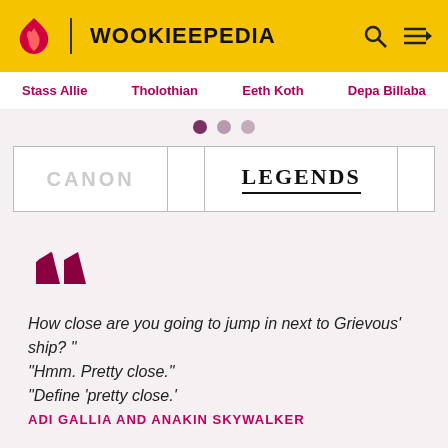WOOKIEEPEDIA
Stass Allie  Tholothian  Eeth Koth  Depa Billaba
[Figure (other): Navigation dots: three circles (filled, medium, light)]
| CANON |  | LEGENDS |  |
| --- | --- | --- | --- |
How close are you going to jump in next to Grievous' ship? "
"Hmm. Pretty close."
"Define 'pretty close.'
ADI GALLIA AND ANAKIN SKYWALKER